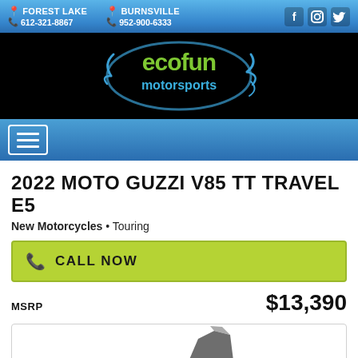FOREST LAKE 612-321-8867 | BURNSVILLE 952-900-6333
[Figure (logo): EcoFun Motorsports logo on black background]
2022 MOTO GUZZI V85 TT TRAVEL E5
New Motorcycles • Touring
CALL NOW
MSRP $13,390
[Figure (photo): Partial view of 2022 Moto Guzzi V85 TT Travel E5 motorcycle]